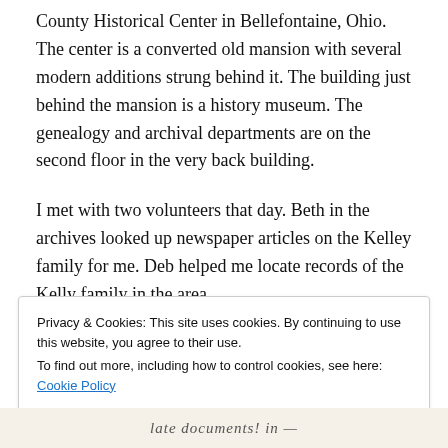County Historical Center in Bellefontaine, Ohio. The center is a converted old mansion with several modern additions strung behind it. The building just behind the mansion is a history museum. The genealogy and archival departments are on the second floor in the very back building.
I met with two volunteers that day. Beth in the archives looked up newspaper articles on the Kelley family for me. Deb helped me locate records of the Kelly family in the area.
Privacy & Cookies: This site uses cookies. By continuing to use this website, you agree to their use.
To find out more, including how to control cookies, see here: Cookie Policy
Close and accept
[Figure (photo): Partial view of a handwritten document strip at the bottom of the page]